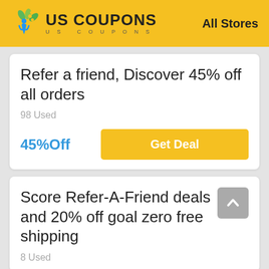US COUPONS — All Stores
Refer a friend, Discover 45% off all orders
98 Used
45%Off  Get Deal
Score Refer-A-Friend deals and 20% off goal zero free shipping
8 Used